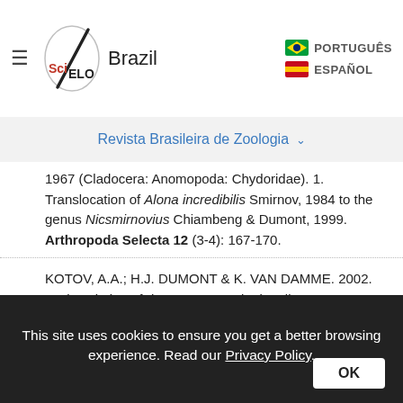[Figure (logo): SciELO Brazil logo with hamburger menu and language selectors (PORTUGUÊS, ESPAÑOL)]
Revista Brasileira de Zoologia
1967 (Cladocera: Anomopoda: Chydoridae). 1. Translocation of Alona incredibilis Smirnov, 1984 to the genus Nicsmirnovius Chiambeng & Dumont, 1999. Arthropoda Selecta 12 (3-4): 167-170.
KOTOV, A.A.; H.J. DUMONT & K. VAN DAMME. 2002. Redescription of Ilyocryptus sarsi Stingelin, 1913. Hydrobiologia 472: 207-222.
LIMA, A.F.; F.A. LANSAC-TÔHA; L.F.M. VELHO; L.M. BINI & A.M. TAKEDA. 2003.
This site uses cookies to ensure you get a better browsing experience. Read our Privacy Policy.